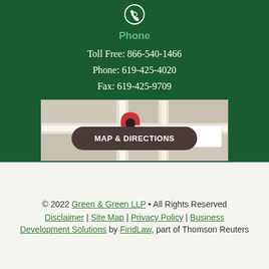[Figure (other): Phone icon (rotary phone silhouette) in white on dark green background]
Phone
Toll Free: 866-540-1466
Phone: 619-425-4020
Fax: 619-425-9709
[Figure (map): Google Maps screenshot showing location pin for Green & Green LLP, Attorneys at Law]
MAP & DIRECTIONS
© 2022 Green & Green LLP • All Rights Reserved
Disclaimer | Site Map | Privacy Policy | Business Development Solutions by FindLaw, part of Thomson Reuters